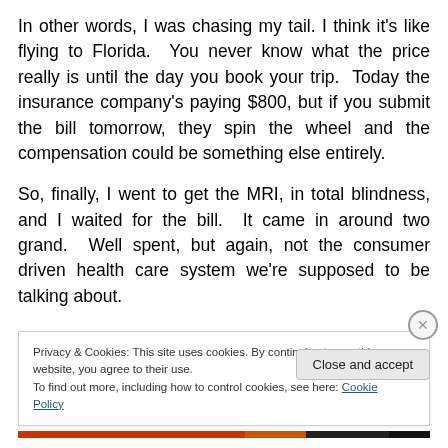In other words, I was chasing my tail. I think it's like flying to Florida. You never know what the price really is until the day you book your trip. Today the insurance company's paying $800, but if you submit the bill tomorrow, they spin the wheel and the compensation could be something else entirely.
So, finally, I went to get the MRI, in total blindness, and I waited for the bill. It came in around two grand. Well spent, but again, not the consumer driven health care system we're supposed to be talking about.
Privacy & Cookies: This site uses cookies. By continuing to use this website, you agree to their use. To find out more, including how to control cookies, see here: Cookie Policy